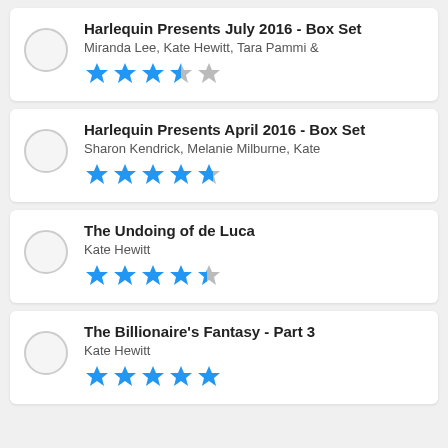Harlequin Presents July 2016 - Box Set
Miranda Lee, Kate Hewitt, Tara Pammi &
★★★★☆ (4 stars)
Harlequin Presents April 2016 - Box Set
Sharon Kendrick, Melanie Milburne, Kate
★★★★★ (4.5 stars)
The Undoing of de Luca
Kate Hewitt
★★★★☆ (4.5 stars)
The Billionaire's Fantasy - Part 3
Kate Hewitt
★★★★★ (5 stars)